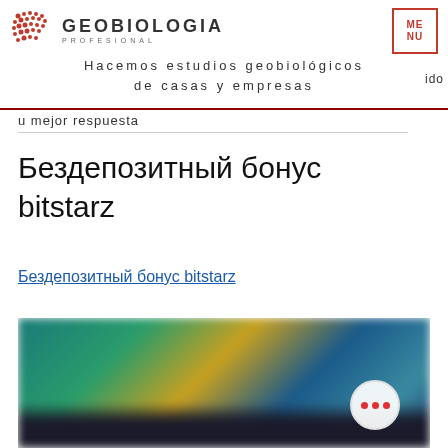GEOBIOLOGIA PROFESIONAL — Hacemos estudios geobiológicos de casas y empresas
u mejor respuesta
Бездепозитный бонус bitstarz
Бездепозитный бонус bitstarz
[Figure (screenshot): Blurred screenshot of a gaming/casino website interface with dark background and colorful game thumbnails, with a circular button showing three red dots in the bottom right corner]